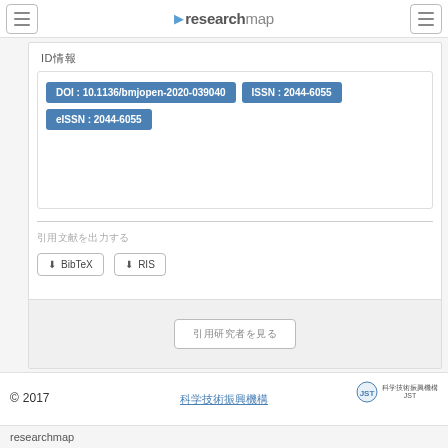researchmap
ID情報
DOI : 10.1136/bmjopen-2020-039040 | ISSN : 2044-6055 | eISSN : 2044-6055
引用文献を出力する
BibTeX | RIS
引用研究者を見る
© 2017 | 科学技術振興機構 | researchmap